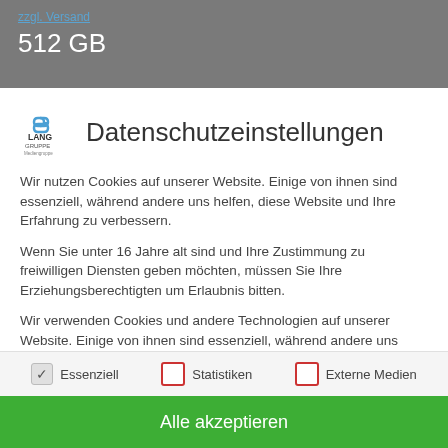zzgl. Versand
512 GB
[Figure (logo): Lang Gruppe logo with chain link icon]
Datenschutzeinstellungen
Wir nutzen Cookies auf unserer Website. Einige von ihnen sind essenziell, während andere uns helfen, diese Website und Ihre Erfahrung zu verbessern.
Wenn Sie unter 16 Jahre alt sind und Ihre Zustimmung zu freiwilligen Diensten geben möchten, müssen Sie Ihre Erziehungsberechtigten um Erlaubnis bitten.
Wir verwenden Cookies und andere Technologien auf unserer Website. Einige von ihnen sind essenziell, während andere uns helfen, diese Website und Ihre Erfahrung zu verbessern. Personenbezogene Daten können verarbeitet werden (z. B. IP-Adressen), z. B. für personalisierte Anzeigen und Inhalte oder
✓ Essenziell    □ Statistiken    □ Externe Medien
Alle akzeptieren